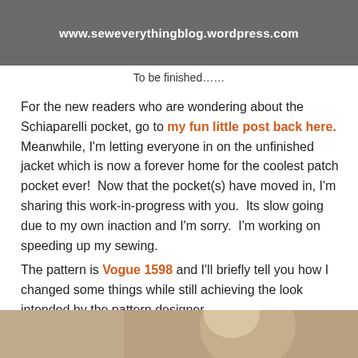[Figure (photo): Top portion of a photo with dark/grey background showing www.seweverythingblog.wordpress.com text in white bold]
To be finished……
For the new readers who are wondering about the Schiaparelli pocket, go to my fun little post back here.  Meanwhile, I'm letting everyone in on the unfinished jacket which is now a forever home for the coolest patch pocket ever!  Now that the pocket(s) have moved in, I'm sharing this work-in-progress with you.  Its slow going due to my own inaction and I'm sorry.  I'm working on speeding up my sewing.
The pattern is Vogue 1598 and I'll briefly tell you how I changed some things while still achieving the look intended by the pattern designer.
[Figure (photo): Bottom portion of a photo showing a woman with blonde hair against a brick wall background, partially cropped]